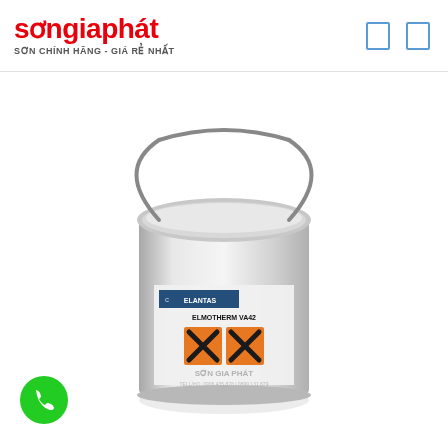sơngiaphát
SƠN CHÍNH HÃNG - GIÁ RẺ NHẤT
[Figure (photo): A metal paint can with ELANTAS ELMOTHERM VA42 label, featuring hazard warning symbols (orange X symbol for harmful). The can is silver/steel colored with a wire handle, and a watermark reading SƠN GIA PHÁT with contact info.]
[Figure (logo): Green circular phone/call button icon in bottom left corner]